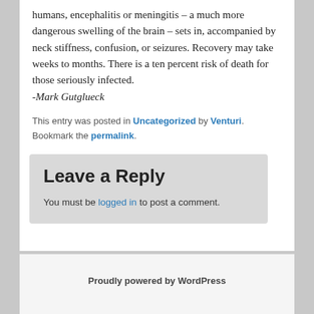humans, encephalitis or meningitis – a much more dangerous swelling of the brain – sets in, accompanied by neck stiffness, confusion, or seizures. Recovery may take weeks to months. There is a ten percent risk of death for those seriously infected.
-Mark Gutglueck
This entry was posted in Uncategorized by Venturi. Bookmark the permalink.
Leave a Reply
You must be logged in to post a comment.
Proudly powered by WordPress